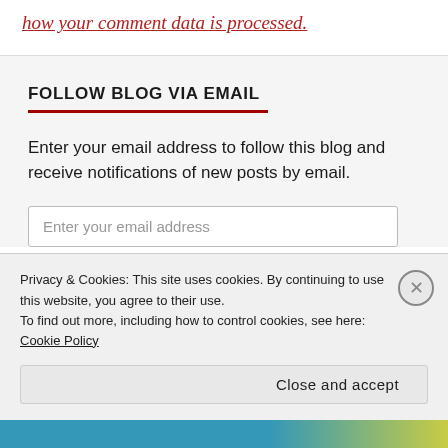how your comment data is processed.
FOLLOW BLOG VIA EMAIL
Enter your email address to follow this blog and receive notifications of new posts by email.
Enter your email address
Privacy & Cookies: This site uses cookies. By continuing to use this website, you agree to their use.
To find out more, including how to control cookies, see here: Cookie Policy
Close and accept